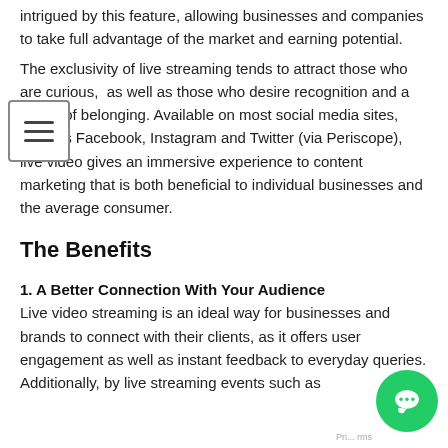intrigued by this feature, allowing businesses and companies to take full advantage of the market and earning potential.
The exclusivity of live streaming tends to attract those who are curious, as well as those who desire recognition and a sense of belonging. Available on most social media sites, such as Facebook, Instagram and Twitter (via Periscope), live video gives an immersive experience to content marketing that is both beneficial to individual businesses and the average consumer.
The Benefits
1. A Better Connection With Your Audience
Live video streaming is an ideal way for businesses and brands to connect with their clients, as it offers user engagement as well as instant feedback to everyday queries. Additionally, by live streaming events such as